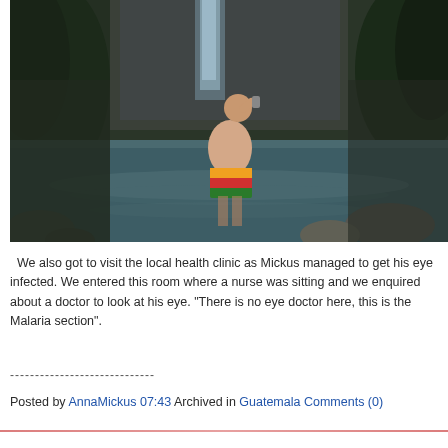[Figure (photo): A person standing waist-deep in a natural pool of water in front of a waterfall, drinking from a can, wearing colorful swim shorts. Rocky surroundings with dark green vegetation.]
We also got to visit the local health clinic as Mickus managed to get his eye infected. We entered this room where a nurse was sitting and we enquired about a doctor to look at his eye. "There is no eye doctor here, this is the Malaria section".
-----------------------------
Posted by AnnaMickus 07:43 Archived in Guatemala Comments (0)